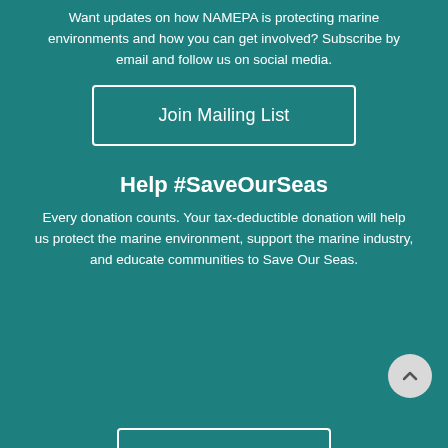Want updates on how NAMEPA is protecting marine environments and how you can get involved? Subscribe by email and follow us on social media.
Join Mailing List
Help #SaveOurSeas
Every donation counts. Your tax-deductible donation will help us protect the marine environment, support the marine industry, and educate communities to Save Our Seas.